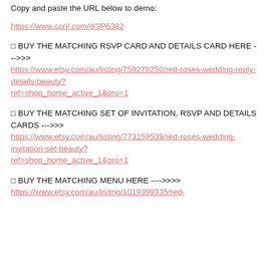Copy and paste the URL below to demo:
https://www.corjl.com/d/3P6382
⬛ BUY THE MATCHING RSVP CARD AND DETAILS CARD HERE --->>>> https://www.etsy.com/au/listing/759278250/red-roses-wedding-reply-details-beauty?ref=shop_home_active_1&pro=1
⬛ BUY THE MATCHING SET OF INVITATION, RSVP AND DETAILS CARDS --->>>> https://www.etsy.com/au/listing/773159539/red-roses-wedding-invitation-set-beauty?ref=shop_home_active_1&pro=1
⬛ BUY THE MATCHING MENU HERE ---->>>> https://www.etsy.com/au/listing/1019399335/red-